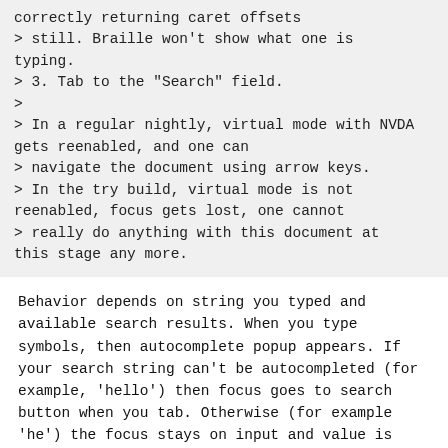correctly returning caret offsets
> still. Braille won't show what one is typing.
> 3. Tab to the "Search" field.
>
> In a regular nightly, virtual mode with NVDA gets reenabled, and one can
> navigate the document using arrow keys.
> In the try build, virtual mode is not reenabled, focus gets lost, one cannot
> really do anything with this document at this stage any more.
Behavior depends on string you typed and available search results. When you type symbols, then autocomplete popup appears. If your search string can't be autocompleted (for example, 'hello') then focus goes to search button when you tab. Otherwise (for example 'he') the focus stays on input and value is